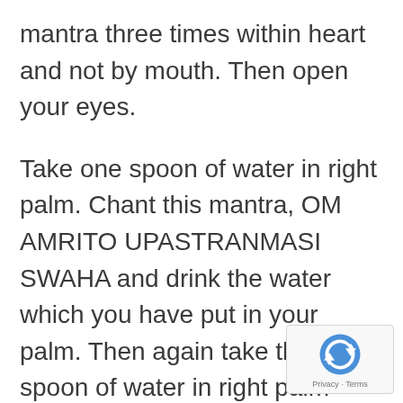mantra three times within heart and not by mouth. Then open your eyes.
Take one spoon of water in right palm. Chant this mantra, OM AMRITO UPASTRANMASI SWAHA and drink the water which you have put in your palm. Then again take the spoon of water in right palm then chant the next mantra OM AMRITA APIDHANMASI SWAHA and drink the water. Then